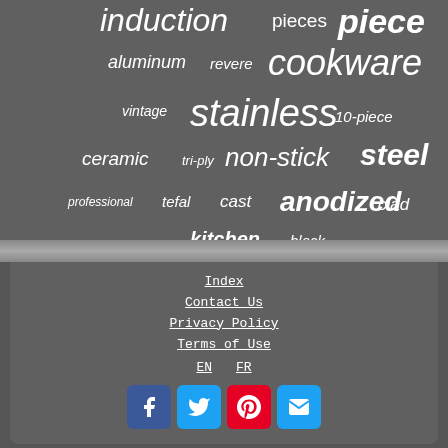[Figure (infographic): Word cloud of cookware-related keywords on dark grey background, including: induction, pieces, piece, aluminum, revere, cookware, vintage, stainless, 10-piece, ceramic, tri-ply, non-stick, steel, professional, tefal, cast, anodized, clad, kitchen, black]
Index
Contact Us
Privacy Policy
Terms of Use
EN   FR
[Figure (infographic): Social media icon buttons: Facebook (blue), Twitter (blue), Pinterest (red), Email (blue)]